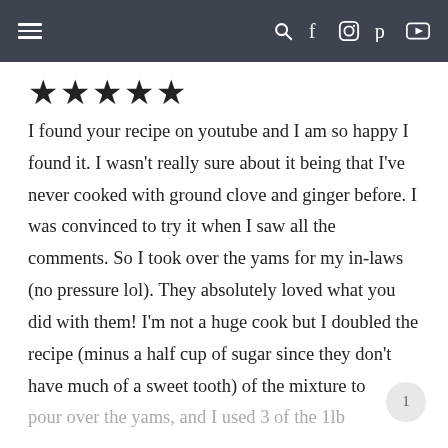≡  [search] [facebook] [instagram] [pinterest] [youtube]
★★★★★
I found your recipe on youtube and I am so happy I found it. I wasn't really sure about it being that I've never cooked with ground clove and ginger before. I was convinced to try it when I saw all the comments. So I took over the yams for my in-laws (no pressure lol). They absolutely loved what you did with them! I'm not a huge cook but I doubled the recipe (minus a half cup of sugar since they don't have much of a sweet tooth) of the mixture to pour over the yams, and I used 3 of the 1lb canned yams. I cooked them uncovered